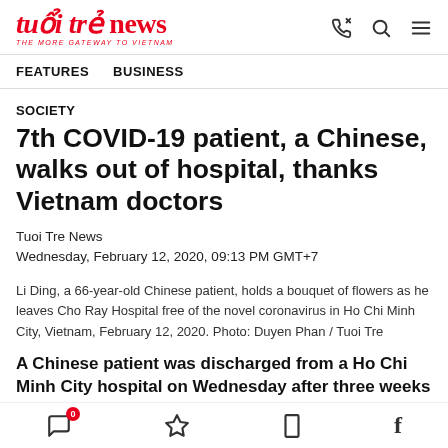tuổi trẻ news — THE MORE GATEWAY TO VIETNAM
FEATURES
BUSINESS
SOCIETY
7th COVID-19 patient, a Chinese, walks out of hospital, thanks Vietnam doctors
Tuoi Tre News
Wednesday, February 12, 2020, 09:13 PM GMT+7
Li Ding, a 66-year-old Chinese patient, holds a bouquet of flowers as he leaves Cho Ray Hospital free of the novel coronavirus in Ho Chi Minh City, Vietnam, February 12, 2020. Photo: Duyen Phan / Tuoi Tre
A Chinese patient was discharged from a Ho Chi Minh City hospital on Wednesday after three weeks